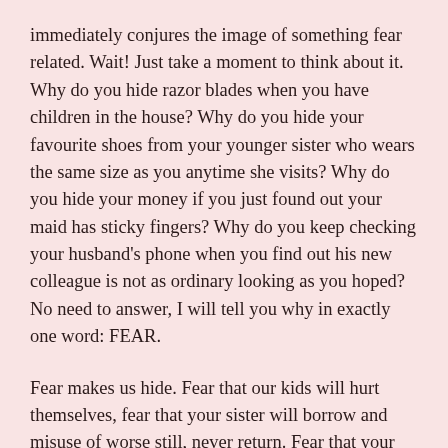immediately conjures the image of something fear related. Wait! Just take a moment to think about it. Why do you hide razor blades when you have children in the house? Why do you hide your favourite shoes from your younger sister who wears the same size as you anytime she visits? Why do you hide your money if you just found out your maid has sticky fingers? Why do you keep checking your husband's phone when you find out his new colleague is not as ordinary looking as you hoped? No need to answer, I will tell you why in exactly one word: FEAR.
Fear makes us hide. Fear that our kids will hurt themselves, fear that your sister will borrow and misuse of worse still, never return. Fear that your maid will not only help you but help herself. Fear that your husband will cheat on you. It's all FEAR.